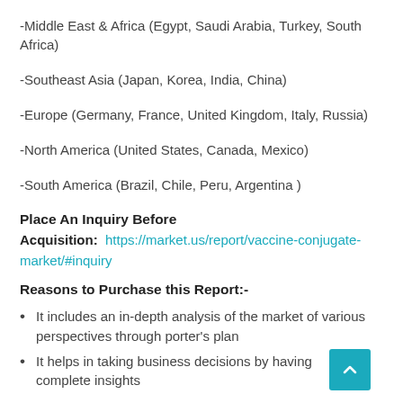-Middle East & Africa (Egypt, Saudi Arabia, Turkey, South Africa)
-Southeast Asia (Japan, Korea, India, China)
-Europe (Germany, France, United Kingdom, Italy, Russia)
-North America (United States, Canada, Mexico)
-South America (Brazil, Chile, Peru, Argentina )
Place An Inquiry Before Acquisition:
https://market.us/report/vaccine-conjugate-market/#inquiry
Reasons to Purchase this Report:-
It includes an in-depth analysis of the market of various perspectives through porter’s plan
It helps in taking business decisions by having complete insights